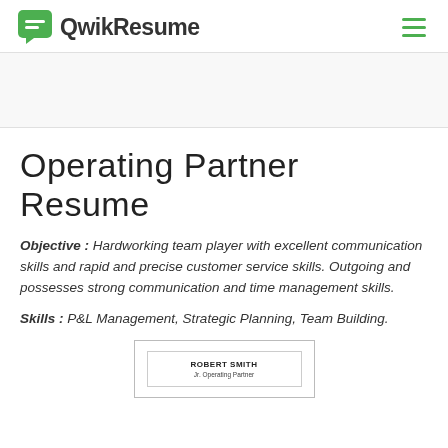QwikResume
Operating Partner Resume
Objective : Hardworking team player with excellent communication skills and rapid and precise customer service skills. Outgoing and possesses strong communication and time management skills.
Skills : P&L Management, Strategic Planning, Team Building.
[Figure (screenshot): Preview of a resume template for Robert Smith, Jr. Operating Partner]